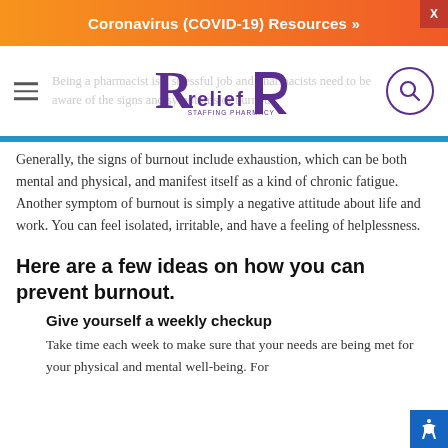Coronavirus (COVID-19) Resources »
[Figure (logo): RxRelief pharmacy staffing logo with purple R and x letters and 'relief' text]
Being a pharmacist is a stressful job and pharmacists need to be aware of the signs and symptoms of burnout.
Generally, the signs of burnout include exhaustion, which can be both mental and physical, and manifest itself as a kind of chronic fatigue. Another symptom of burnout is simply a negative attitude about life and work. You can feel isolated, irritable, and have a feeling of helplessness.
Here are a few ideas on how you can prevent burnout.
Give yourself a weekly checkup
Take time each week to make sure that your needs are being met for your physical and mental well-being. For